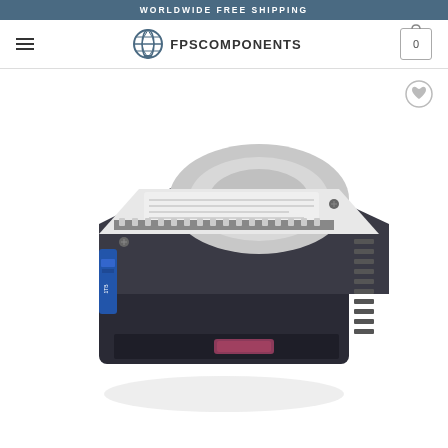WORLDWIDE FREE SHIPPING
[Figure (logo): FPSComponents globe logo with text FPSCOMPONENTS and navigation elements including hamburger menu and shopping cart icon showing 0 items]
[Figure (photo): HP 1TB SAS hard disk drive in a server hot-swap tray/caddy, angled view showing the drive label, metal casing, and blue pull tab. Drive is mounted in a dark gray/black hot-swap carrier with a mauve/pink release button.]